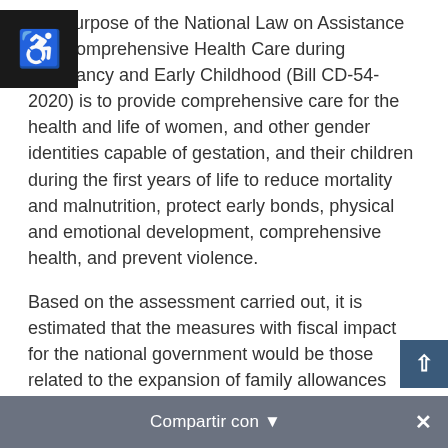The purpose of the National Law on Assistance and Comprehensive Health Care during Pregnancy and Early Childhood (Bill CD-54-2020) is to provide comprehensive care for the health and life of women, and other gender identities capable of gestation, and their children during the first years of life to reduce mortality and malnutrition, protect early bonds, physical and emotional development, comprehensive health, and prevent violence.
Based on the assessment carried out, it is estimated that the measures with fiscal impact for the national government would be those related to the expansion of family allowances policy (Sections 4, 5, 6, 7 and 10 of the Bill), training of personnel involved in the care of pregnancy and early childhood (Section 17) and the coverage of medical tests and treatments for pregnant persons at risk of...